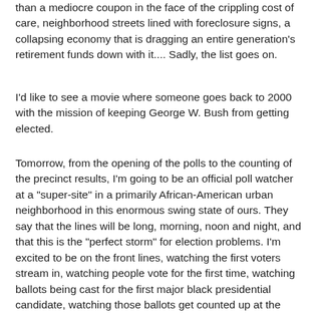than a mediocre coupon in the face of the crippling cost of care, neighborhood streets lined with foreclosure signs, a collapsing economy that is dragging an entire generation's retirement funds down with it.... Sadly, the list goes on.
I'd like to see a movie where someone goes back to 2000 with the mission of keeping George W. Bush from getting elected.
Tomorrow, from the opening of the polls to the counting of the precinct results, I'm going to be an official poll watcher at a "super-site" in a primarily African-American urban neighborhood in this enormous swing state of ours. They say that the lines will be long, morning, noon and night, and that this is the "perfect storm" for election problems. I'm excited to be on the front lines, watching the first voters stream in, watching people vote for the first time, watching ballots being cast for the first major black presidential candidate, watching those ballots get counted up at the end of the day, and then, hopefully, watching the election of 2008 get called for Barack Obama as the next President of the United States.